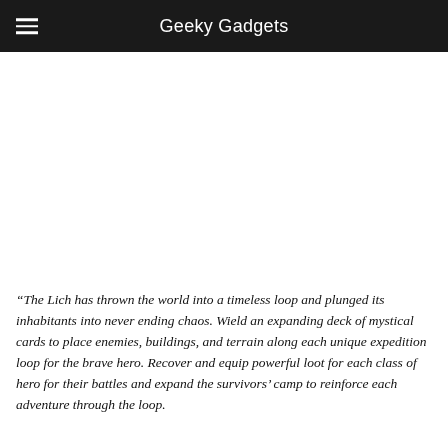Geeky Gadgets
[Figure (photo): Image area, white/blank space representing a game screenshot or product image]
“The Lich has thrown the world into a timeless loop and plunged its inhabitants into never ending chaos. Wield an expanding deck of mystical cards to place enemies, buildings, and terrain along each unique expedition loop for the brave hero. Recover and equip powerful loot for each class of hero for their battles and expand the survivors’ camp to reinforce each adventure through the loop.